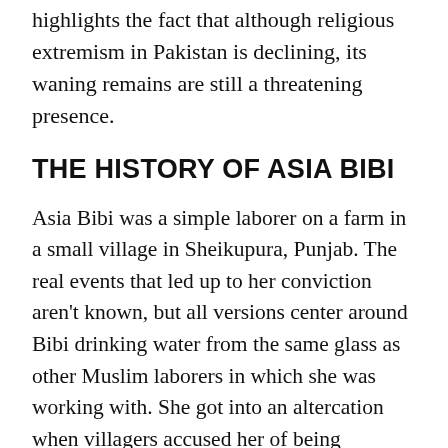highlights the fact that although religious extremism in Pakistan is declining, its waning remains are still a threatening presence.
THE HISTORY OF ASIA BIBI
Asia Bibi was a simple laborer on a farm in a small village in Sheikupura, Punjab. The real events that led up to her conviction aren't known, but all versions center around Bibi drinking water from the same glass as other Muslim laborers in which she was working with. She got into an altercation when villagers accused her of being “unclean,” citing a cultural belief that Muslims and non-Muslims cannot share utensils because non-Muslims are impure.